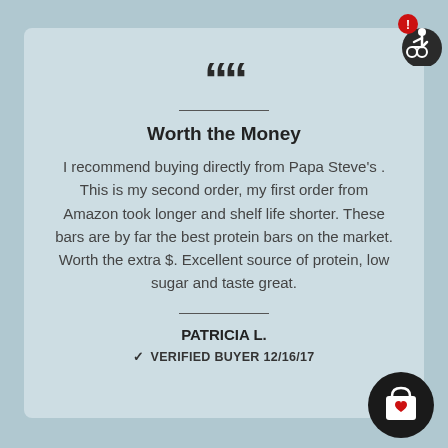““
Worth the Money
I recommend buying directly from Papa Steve’s . This is my second order, my first order from Amazon took longer and shelf life shorter. These bars are by far the best protein bars on the market. Worth the extra $. Excellent source of protein, low sugar and taste great.
PATRICIA L.
✓ VERIFIED BUYER 12/16/17
[Figure (illustration): Accessibility icon with red alert badge in top-right corner]
[Figure (illustration): Black circular shopping bag with heart icon in bottom-right corner]